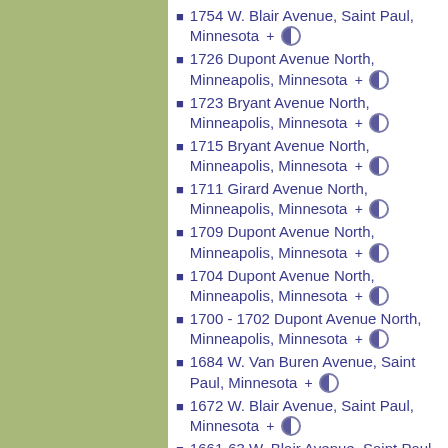1754 W. Blair Avenue, Saint Paul, Minnesota
1726 Dupont Avenue North, Minneapolis, Minnesota
1723 Bryant Avenue North, Minneapolis, Minnesota
1715 Bryant Avenue North, Minneapolis, Minnesota
1711 Girard Avenue North, Minneapolis, Minnesota
1709 Dupont Avenue North, Minneapolis, Minnesota
1704 Dupont Avenue North, Minneapolis, Minnesota
1700 - 1702 Dupont Avenue North, Minneapolis, Minnesota
1684 W. Van Buren Avenue, Saint Paul, Minnesota
1672 W. Blair Avenue, Saint Paul, Minnesota
1661-63 W. Blair Avenue, Saint Paul, Minnesota
1624 Emerson Avenue North, Minneapolis,